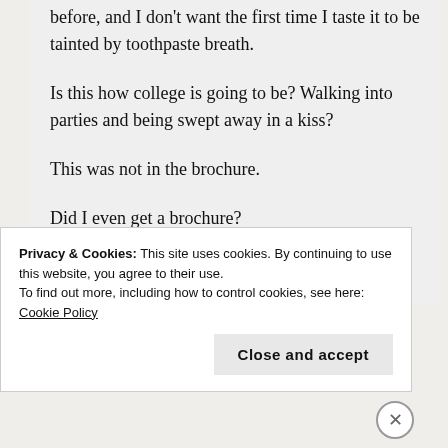before, and I don't want the first time I taste it to be tainted by toothpaste breath.
Is this how college is going to be? Walking into parties and being swept away in a kiss?
This was not in the brochure.
Did I even get a brochure?
Focus, Paisley!
Privacy & Cookies: This site uses cookies. By continuing to use this website, you agree to their use.
To find out more, including how to control cookies, see here: Cookie Policy